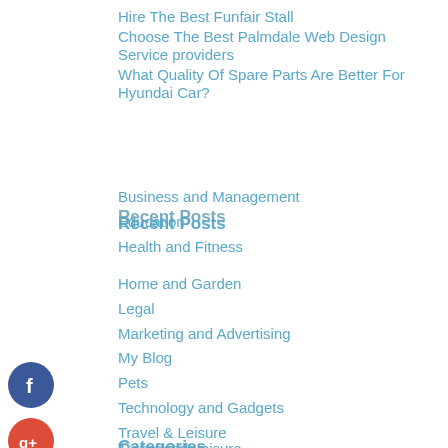Hire The Best Funfair Stall
Choose The Best Palmdale Web Design Service providers
What Quality Of Spare Parts Are Better For Hyundai Car?
Recent Posts
Business and Management
Education
Health and Fitness
Home and Garden
Legal
Marketing and Advertising
My Blog
Pets
Technology and Gadgets
Travel & Leisure
Travel and Leisure
Categories
August 2022
July 2022
June 2022
May 2022